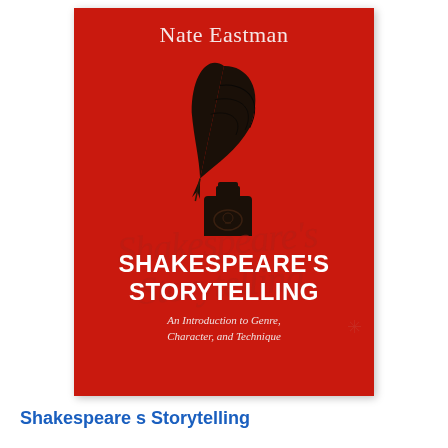[Figure (illustration): Book cover for 'Shakespeare's Storytelling: An Introduction to Genre, Character, and Technique' by Nate Eastman. Red background with a black silhouette of a quill pen in an ink bottle. Watermark text 'Shakespeare's Storytelling' in cursive behind the main title. Author name at top in cream/white text.]
Shakespeare s Storytelling